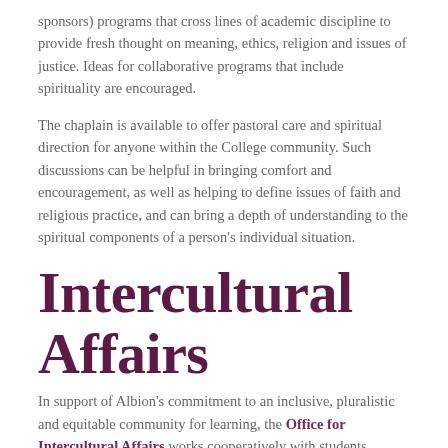sponsors) programs that cross lines of academic discipline to provide fresh thought on meaning, ethics, religion and issues of justice. Ideas for collaborative programs that include spirituality are encouraged.
The chaplain is available to offer pastoral care and spiritual direction for anyone within the College community. Such discussions can be helpful in bringing comfort and encouragement, as well as helping to define issues of faith and religious practice, and can bring a depth of understanding to the spiritual components of a person's individual situation.
Intercultural Affairs
In support of Albion's commitment to an inclusive, pluralistic and equitable community for learning, the Office for Intercultural Affairs works cooperatively with students, faculty, staff and the Albion community to heighten awareness of an appreciation for cultural, ethnic and racial diversity. Emphasis is placed on the